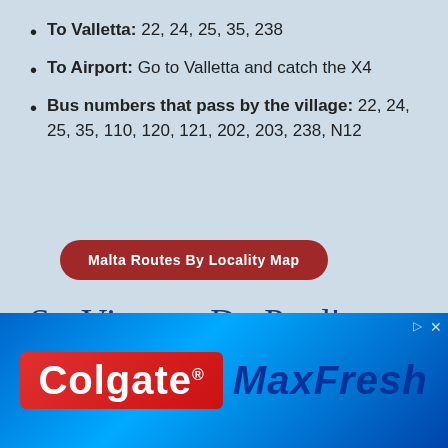To Valletta: 22, 24, 25, 35, 238
To Airport: Go to Valletta and catch the X4
Bus numbers that pass by the village: 22, 24, 25, 35, 110, 120, 121, 202, 203, 238, N12
Malta Routes By Locality Map
St. Vincent De Paul's Residence - San Vincenż De Paul
To Valletta: 73, 74, X1
[Figure (photo): Colgate MaxFresh advertisement banner with blue background and product logo]